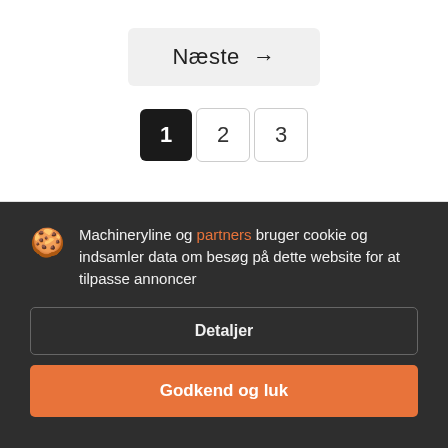Næste →
1  2  3
Machineryline og partners bruger cookie og indsamler data om besøg på dette website for at tilpasse annoncer
Detaljer
Godkend og luk